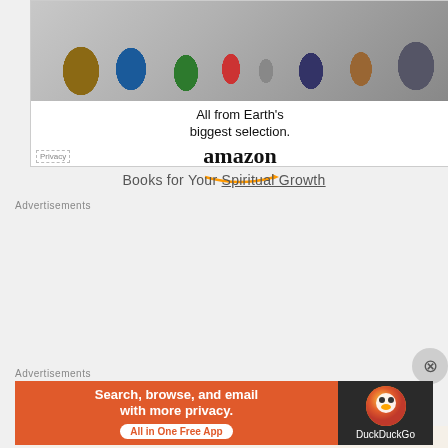[Figure (illustration): Amazon advertisement banner showing various products (bag, sneakers, kitchen mixer, green smoothie, books, electronics, Star Trek movie) with text 'All from Earth's biggest selection.' and Amazon logo with orange arrow. Privacy label in bottom left corner.]
Books for Your Spiritual Growth
Advertisements
[Figure (illustration): Squarespace-style advertisement with beige/cream background showing text 'Professionally designed sites in less than a week' with a green bar accent and business card graphics with letter A.]
[Figure (illustration): DuckDuckGo advertisement: orange/red left panel with text 'Search, browse, and email with more privacy. All in One Free App' button, and dark right panel with DuckDuckGo logo and brand name.]
Advertisements